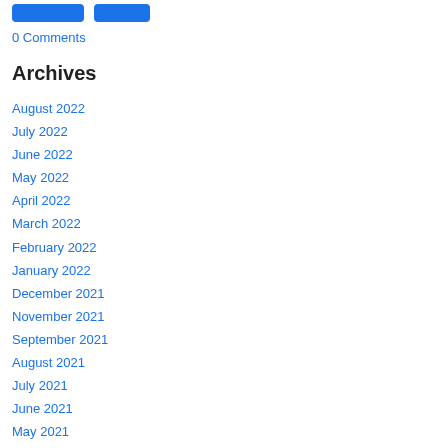[Figure (other): Two blue button elements at the top of the page]
0 Comments
Archives
August 2022
July 2022
June 2022
May 2022
April 2022
March 2022
February 2022
January 2022
December 2021
November 2021
September 2021
August 2021
July 2021
June 2021
May 2021
April 2021